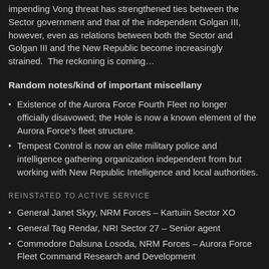impending Vong threat has strengthened ties between the Sector government and that of the independent Golgan III, however, even as relations between both the Sector and Golgan III and the New Republic become increasingly strained.  The reckoning is coming…
Random notes/kind of important miscellany
Existence of the Aurora Force Fourth Fleet no longer officially disavowed; the Hole is now a known element of the Aurora Force's fleet structure.
Tempest Control is now an elite military police and intelligence gathering organization independent from but working with New Republic Intelligence and local authorities.
REINSTATED TO ACTIVE SERVICE
General Janet Skyy, NRM Forces – Kartuiin Sector XO
General Tag Rendar, NRI Sector 27 – Senior agent
Commodore Dalsuna Losoda, NRM Forces – Aurora Force Fleet Command Research and Development